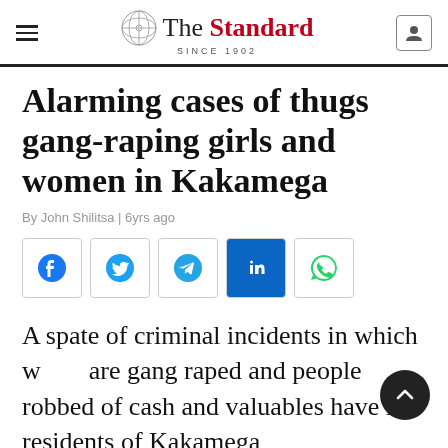The Standard — SINCE 1902
Alarming cases of thugs gang-raping girls and women in Kakamega
By John Shilitsa | 6yrs ago
[Figure (other): Social sharing buttons: Facebook, Twitter, Telegram, LinkedIn, WhatsApp]
A spate of criminal incidents in which women are gang raped and people robbed of cash and valuables have left residents of Kakamega